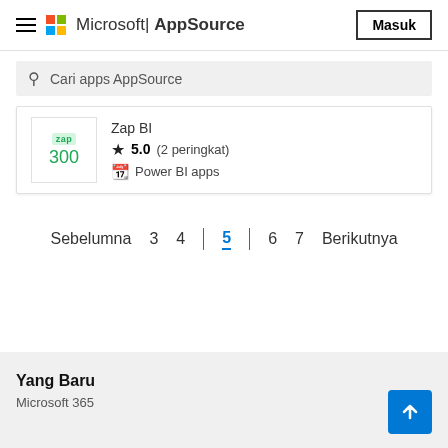Microsoft | AppSource   Masuk
Cari apps AppSource
Zap BI  ★ 5.0 (2 peringkat)  Power BI apps
Sebelumna   3   4   5   6   7   Berikutnya
Yang Baru
Microsoft 365